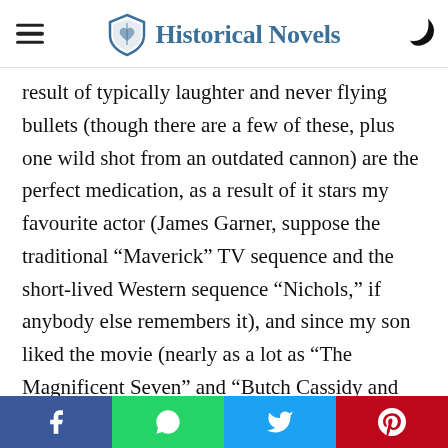Historical Novels
result of typically laughter and never flying bullets (though there are a few of these, plus one wild shot from an outdated cannon) are the perfect medication, as a result of it stars my favourite actor (James Garner, suppose the traditional “Maverick” TV sequence and the short-lived Western sequence “Nichols,” if anybody else remembers it), and since my son liked the movie (nearly as a lot as “The Magnificent Seven” and “Butch Cassidy and the Sundance Child,” which might have been No. 7 on this record had there been a No. 7). This parody
f  whatsapp  twitter  pinterest